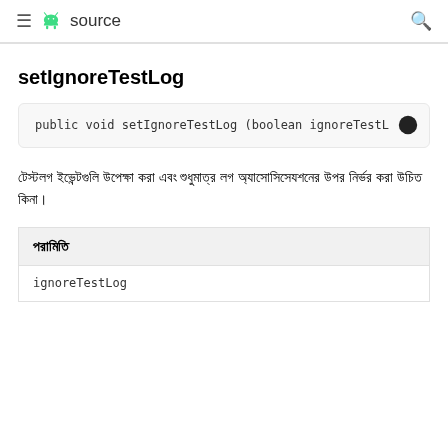≡ android source 🔍
setIgnoreTestLog
public void setIgnoreTestLog (boolean ignoreTestL
টেস্টলগ ইভেন্টগুলি উপেক্ষা করা এবং শুধুমাত্র লগ অ্যাসোসিসেযশনের উপর নির্ভর করা উচিত কিনা।
| পরামিতি |
| --- |
| ignoreTestLog |